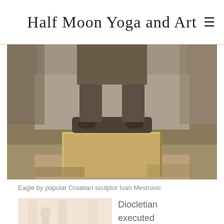Half Moon Yoga and Art
[Figure (photo): Close-up photograph of a bronze eagle sculpture by Ivan Mestrovic, showing the talons and base of the statue on a golden pedestal, with trees in the background]
Eagle by popular Croatian sculptor Ivan Mestrovic
[Figure (photo): Partial photograph showing a light-colored architectural space with figures]
Diocletian executed Christians,